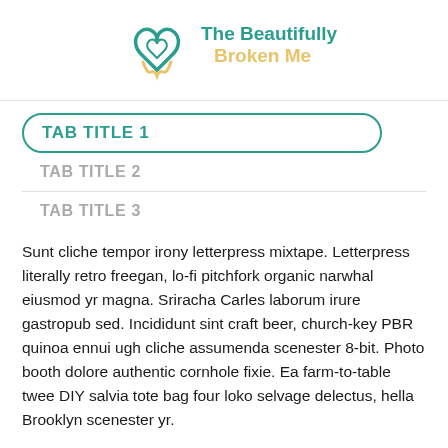[Figure (logo): The Beautifully Broken Me logo with heart/tooth icon in teal and text in teal and orange]
TAB TITLE 1
TAB TITLE 2
TAB TITLE 3
Sunt cliche tempor irony letterpress mixtape. Letterpress literally retro freegan, lo-fi pitchfork organic narwhal eiusmod yr magna. Sriracha Carles laborum irure gastropub sed. Incididunt sint craft beer, church-key PBR quinoa ennui ugh cliche assumenda scenester 8-bit. Photo booth dolore authentic cornhole fixie. Ea farm-to-table twee DIY salvia tote bag four loko selvage delectus, hella Brooklyn scenester yr.